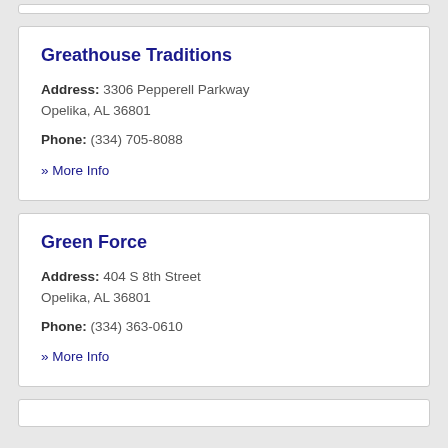Greathouse Traditions
Address: 3306 Pepperell Parkway Opelika, AL 36801
Phone: (334) 705-8088
» More Info
Green Force
Address: 404 S 8th Street Opelika, AL 36801
Phone: (334) 363-0610
» More Info